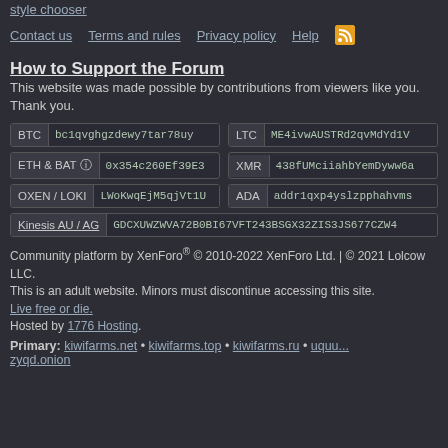style chooser
Contact us | Terms and rules | Privacy policy | Help | RSS
How to Support the Forum
This website was made possible by contributions from viewers like you. Thank you.
| Currency | Address |
| --- | --- |
| BTC | bc1qvghgzdewy7tar78uy |
| LTC | ME4ivwAUSTRd2qvMdYd1V |
| ETH & BAT | 0x354c260Ef39E3 |
| XMR | 438fUMciiahbYemDyww6a |
| OXEN / LOKI | LWoKwqEjM5qjVt1U |
| ADA | addr1qxp4yslzpphahvms |
| Kinesis AU / AG | GDCXUWZWVA72B0BI67VFT243BSGX32ZIS3JS677CZW4 |
Community platform by XenForo® © 2010-2022 XenForo Ltd. | © 2021 Lolcow LLC.
This is an adult website. Minors must discontinue accessing this site.
Live free or die.
Hosted by 1776 Hosting.
Primary: kiwifarms.net • kiwifarms.top • kiwifarms.ru • uquu...zyqd.onion